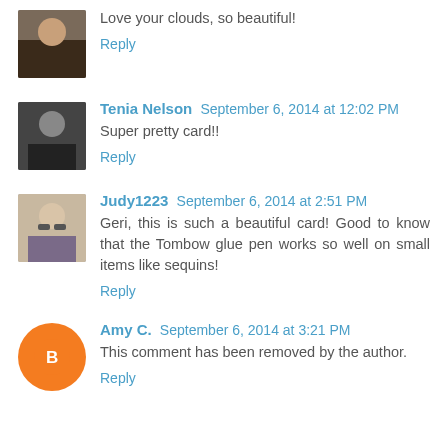Love your clouds, so beautiful!
Reply
Tenia Nelson  September 6, 2014 at 12:02 PM
Super pretty card!!
Reply
Judy1223  September 6, 2014 at 2:51 PM
Geri, this is such a beautiful card! Good to know that the Tombow glue pen works so well on small items like sequins!
Reply
Amy C.  September 6, 2014 at 3:21 PM
This comment has been removed by the author.
Reply